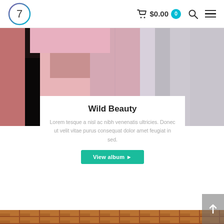7  $0.00  0
[Figure (photo): Close-up beauty photo of a woman with long blonde/silver hair against a pink background, split into left dark side and right lighter side]
Wild Beauty
Lorem tesque a nisl ac nibh venenatis ultricies. Donec ut velit vitae purus consequat dolor amet feugiat in sed.
View album ▶
[Figure (photo): Brick wall background with a wooden shelf holding books of various colors and sizes, warm lighting from below]